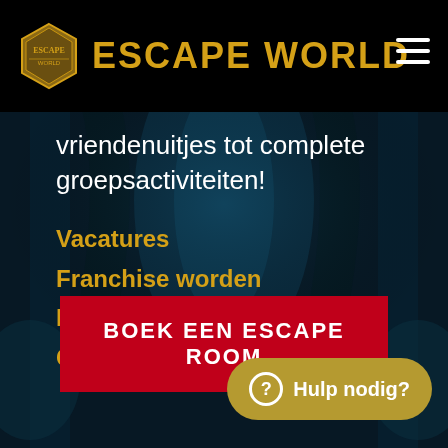[Figure (logo): Escape World logo: hexagonal golden shield emblem with 'ESCAPE' text inside]
ESCAPE WORLD
vriendenuitjes tot complete groepsactiviteiten!
Vacatures
Franchise worden
Escape World Exclusief
Cadeaubon
BOEK EEN ESCAPE ROOM
Hulp nodig?